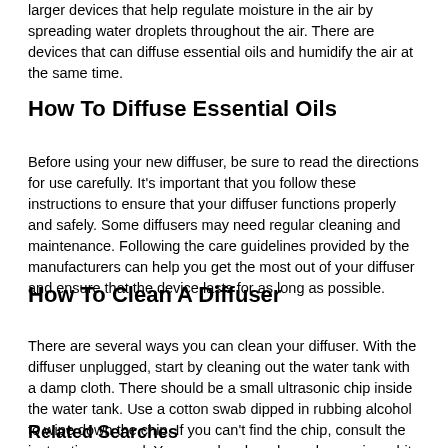larger devices that help regulate moisture in the air by spreading water droplets throughout the air. There are devices that can diffuse essential oils and humidify the air at the same time.
How To Diffuse Essential Oils
Before using your new diffuser, be sure to read the directions for use carefully. It's important that you follow these instructions to ensure that your diffuser functions properly and safely. Some diffusers may need regular cleaning and maintenance. Following the care guidelines provided by the manufacturers can help you get the most out of your diffuser and ensure that the device lasts for as long as possible.
How To Clean A Diffuser
There are several ways you can clean your diffuser. With the diffuser unplugged, start by cleaning out the water tank with a damp cloth. There should be a small ultrasonic chip inside the water tank. Use a cotton swab dipped in rubbing alcohol to wipe down the chip. If you can't find the chip, consult the instruction manual. You can also do a deep clean using white vinegar mixed with water.
Related Searches